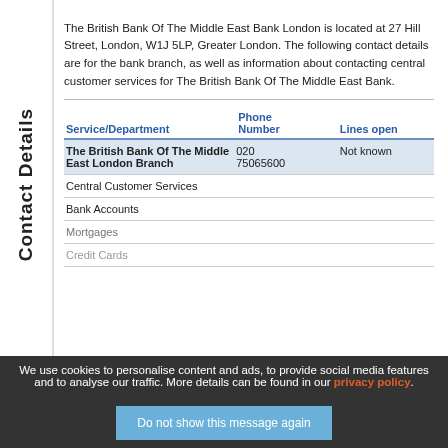Contact Details
The British Bank Of The Middle East Bank London is located at 27 Hill Street, London, W1J 5LP, Greater London. The following contact details are for the bank branch, as well as information about contacting central customer services for The British Bank Of The Middle East Bank.
| Service/Department | Phone Number | Lines open |
| --- | --- | --- |
| The British Bank Of The Middle East London Branch | 020 75065600 | Not known |
| Central Customer Services |  |  |
| Bank Accounts |  |  |
| Mortgages |  |  |
| Credit Cards |  |  |
We use cookies to personalise content and ads, to provide social media features and to analyse our traffic. More details can be found in our privacy policy.
Do not show this message again